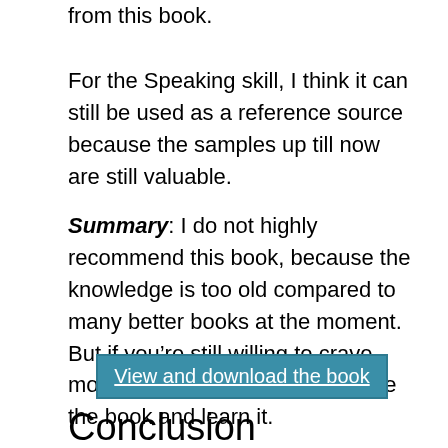from this book.
For the Speaking skill, I think it can still be used as a reference source because the samples up till now are still valuable.
Summary: I do not highly recommend this book, because the knowledge is too old compared to many better books at the moment. But if you’re still willing to crave more “excavation”, then Welcome the book and learn it.
View and download the book
Conclusion